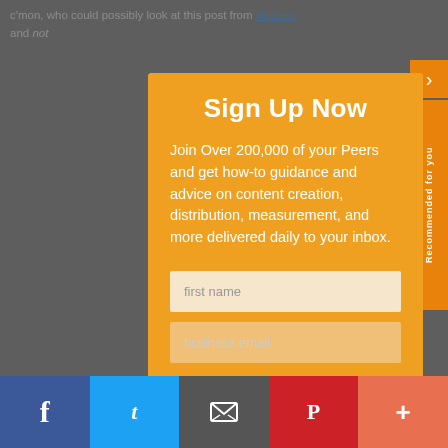c'mon, who could possibly look at this post from NatGeo and not …e?
Sign Up Now
Join Over 200,000 of your Peers and get how-to guidance and advice on content creation, distribution, measurement, and more delivered daily to your inbox.
[Figure (screenshot): Sign-up modal form with first name and business email fields on an orange background, with social share bar at the bottom (Facebook, Twitter, email, Pinterest, more)]